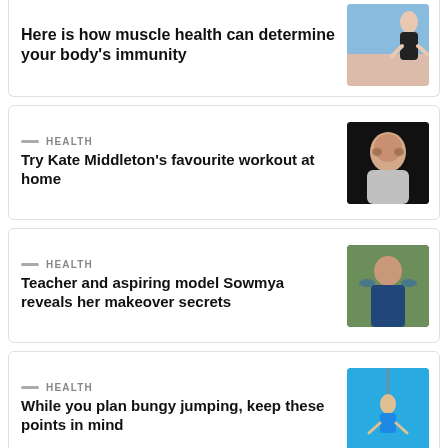Here is how muscle health can determine your body's immunity
[Figure (photo): Woman in black outfit jumping against blue sky]
HEALTH
Try Kate Middleton's favourite workout at home
[Figure (photo): Kate Middleton smiling portrait]
HEALTH
Teacher and aspiring model Sowmya reveals her makeover secrets
[Figure (photo): Young woman in blue outfit posing outdoors]
HEALTH
While you plan bungy jumping, keep these points in mind
[Figure (photo): Person bungee jumping against blue sky]
HEALTH
A House will appreciate, but not...